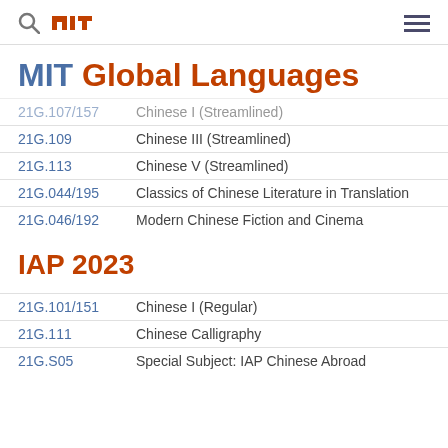MIT Global Languages
MIT Global Languages
21G.107/157	Chinese I (Streamlined)
21G.109	Chinese III (Streamlined)
21G.113	Chinese V (Streamlined)
21G.044/195	Classics of Chinese Literature in Translation
21G.046/192	Modern Chinese Fiction and Cinema
IAP 2023
21G.101/151	Chinese I (Regular)
21G.111	Chinese Calligraphy
21G.S05	Special Subject: IAP Chinese Abroad